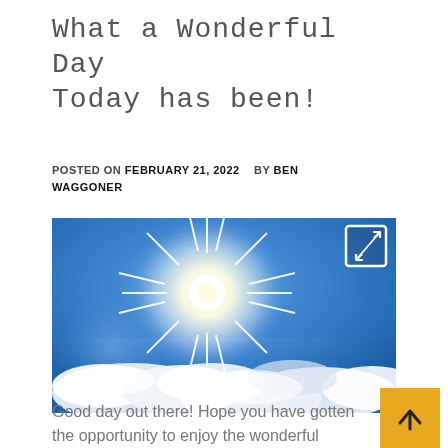What a Wonderful Day Today has been!
POSTED ON FEBRUARY 21, 2022   BY BEN WAGGONER
[Figure (photo): Blue sky with bright sunburst and white cumulus clouds. An expand/fullscreen icon is overlaid in the upper right corner of the image.]
Good day out there! Hope you have gotten the opportunity to enjoy the wonderful